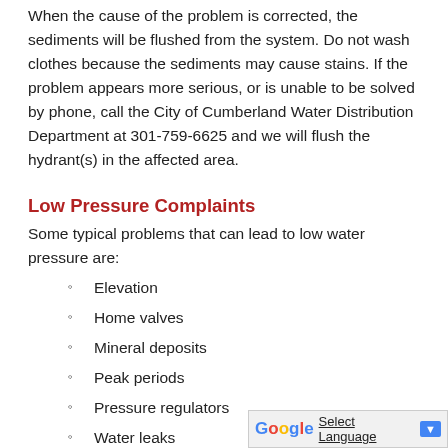When the cause of the problem is corrected, the sediments will be flushed from the system. Do not wash clothes because the sediments may cause stains. If the problem appears more serious, or is unable to be solved by phone, call the City of Cumberland Water Distribution Department at 301-759-6625 and we will flush the hydrant(s) in the affected area.
Low Pressure Complaints
Some typical problems that can lead to low water pressure are:
Elevation
Home valves
Mineral deposits
Peak periods
Pressure regulators
Water leaks